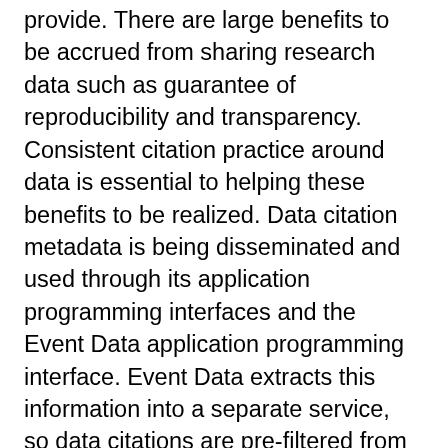provide. There are large benefits to be accrued from sharing research data such as guarantee of reproducibility and transparency. Consistent citation practice around data is essential to helping these benefits to be realized. Data citation metadata is being disseminated and used through its application programming interfaces and the Event Data application programming interface. Event Data extracts this information into a separate service, so data citations are pre-filtered from the Crossref metadata. There are two methods by which publishers can register data citation information with Crossref. The first method is to deposit data citations in the citation section of the metadata, i.e., the part containing the reference list of the